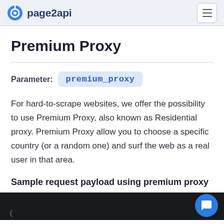page2api
Premium Proxy
Parameter: premium_proxy
For hard-to-scrape websites, we offer the possibility to use Premium Proxy, also known as Residential proxy. Premium Proxy allow you to choose a specific country (or a random one) and surf the web as a real user in that area.
Sample request payload using premium proxy
[Figure (screenshot): Dark code block area at the bottom of the page showing a JSON code snippet beginning with a curly brace]